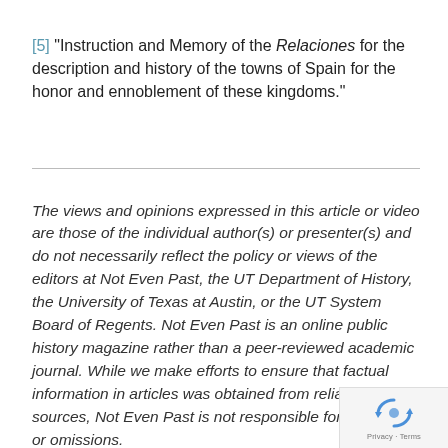[5] "Instruction and Memory of the Relaciones for the description and history of the towns of Spain for the honor and ennoblement of these kingdoms."
The views and opinions expressed in this article or video are those of the individual author(s) or presenter(s) and do not necessarily reflect the policy or views of the editors at Not Even Past, the UT Department of History, the University of Texas at Austin, or the UT System Board of Regents. Not Even Past is an online public history magazine rather than a peer-reviewed academic journal. While we make efforts to ensure that factual information in articles was obtained from reliable sources, Not Even Past is not responsible for any errors or omissions.
[Figure (logo): reCAPTCHA badge with blue recycle-style arrows icon and 'Privacy - Terms' text]